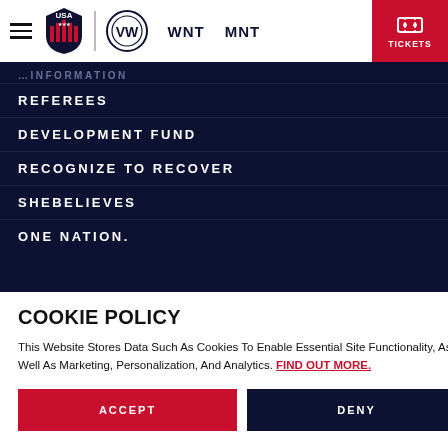USA Soccer navigation header with hamburger menu, USA logo, VW logo, WNT, MNT links, and TICKETS button
REFEREES
DEVELOPMENT FUND
RECOGNIZE TO RECOVER
SHEBELIEVES
ONE NATION.
COOKIE POLICY
This Website Stores Data Such As Cookies To Enable Essential Site Functionality, As Well As Marketing, Personalization, And Analytics. FIND OUT MORE.
ACCEPT
DENY